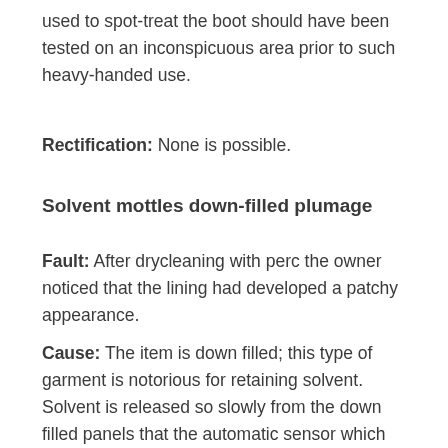used to spot-treat the boot should have been tested on an inconspicuous area prior to such heavy-handed use.
Rectification: None is possible.
Solvent mottles down-filled plumage
Fault: After drycleaning with perc the owner noticed that the lining had developed a patchy appearance.
Cause: The item is down filled; this type of garment is notorious for retaining solvent. Solvent is released so slowly from the down filled panels that the automatic sensor which measures the rate of solvent recovery from the drying air stream will wrongly detect that the garment is dry long before...